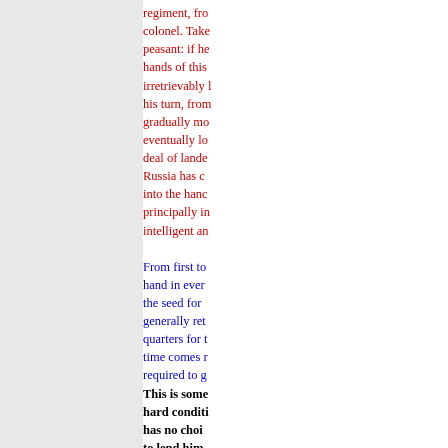regiment, from colonel. Take peasant: if he hands of this irretrievably l his turn, from gradually mo eventually lo deal of lande Russia has c into the hanc principally in intelligent an
From first to hand in ever the seed for generally ret quarters for t time comes r required to g This is some hard conditi has no choi to lend him better to se to lose all. V buys the wh in the field c is thus seer